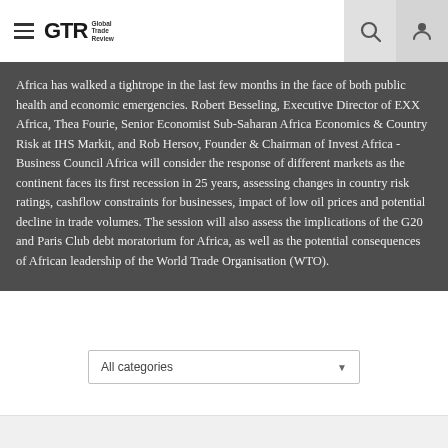GTR Global Trade Review
Africa has walked a tightrope in the last few months in the face of both public health and economic emergencies. Robert Besseling, Executive Director of EXX Africa, Thea Fourie, Senior Economist Sub-Saharan Africa Economics & Country Risk at IHS Markit, and Rob Hersov, Founder & Chairman of Invest Africa - Business Council Africa will consider the response of different markets as the continent faces its first recession in 25 years, assessing changes in country risk ratings, cashflow constraints for businesses, impact of low oil prices and potential decline in trade volumes. The session will also assess the implications of the G20 and Paris Club debt moratorium for Africa, as well as the potential consequences of African leadership of the World Trade Organisation (WTO).
All categories